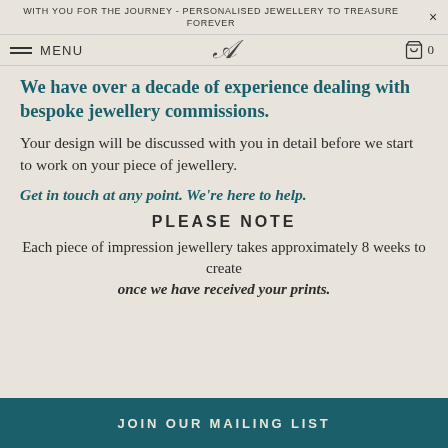WITH YOU FOR THE JOURNEY - PERSONALISED JEWELLERY TO TREASURE FOREVER
MENU
We have over a decade of experience dealing with bespoke jewellery commissions.
Your design will be discussed with you in detail before we start to work on your piece of jewellery.
Get in touch at any point.  We're here to help.
PLEASE NOTE
Each piece of impression jewellery takes approximately 8 weeks to create
once we have received your prints.
JOIN OUR MAILING LIST